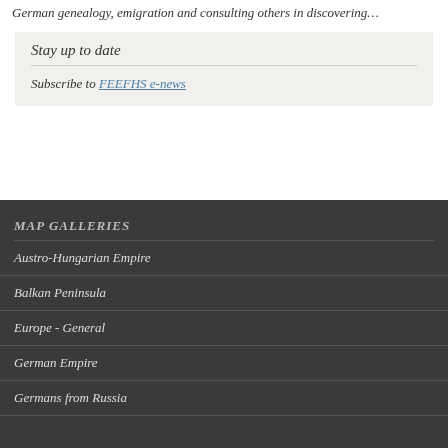German genealogy, emigration and consulting others in discovering…
Stay up to date
Subscribe to FEEFHS e-news
MAP GALLERIES
Austro-Hungarian Empire
Balkan Peninsula
Europe - General
German Empire
Germans from Russia